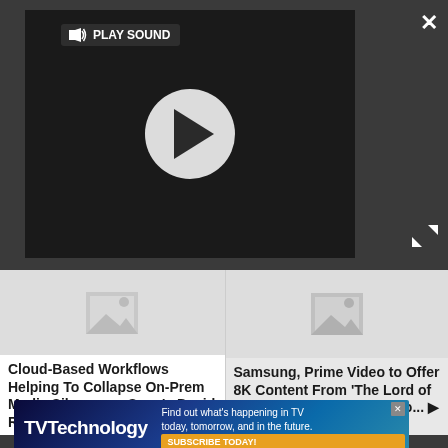[Figure (screenshot): Video player with dark background showing a play button circle in the center and a 'PLAY SOUND' label with speaker icon in the top-left. A close X button is in the top-right and expand arrows in the bottom-right.]
Cloud-Based Workflows Helping To Collapse On-Prem Media Silos, says Sony's David Rose... ▶
Samsung, Prime Video to Offer 8K Content From 'The Lord of the Rings: The Rings of Po... ▶
SEE MORE LATEST ▶
[Figure (screenshot): TVTechnology advertisement banner with blue gradient background showing the TVTechnology logo, text 'Find out what's happening in TV today, tomorrow, and in the future.' and a 'SUBSCRIBE TODAY!' orange button. A small close X is in the top-right.]